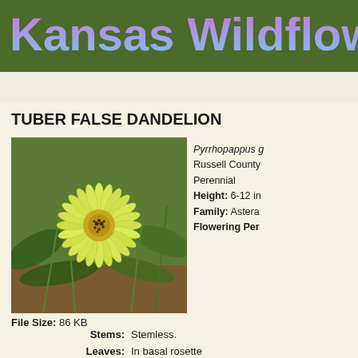Kansas Wildflowers
Home | By Color | By Time | Grasses | Sedges | Trees | Co...
TUBER FALSE DANDELION
[Figure (photo): Close-up photograph of a yellow Tuber False Dandelion flower with many thin petals and a yellow-orange center, surrounded by green grass and leaves]
File Size: 86 KB
Pyrrhopappus g...
Russell County...
Perennial
Height: 6-12 in...
Family: Astera...
Flowering Per...
Stems: Stemless.
Leaves: In basal rosette... to deeply toothe...
Inflorescences: Heads, solitary, heads 1 to 2 inc...